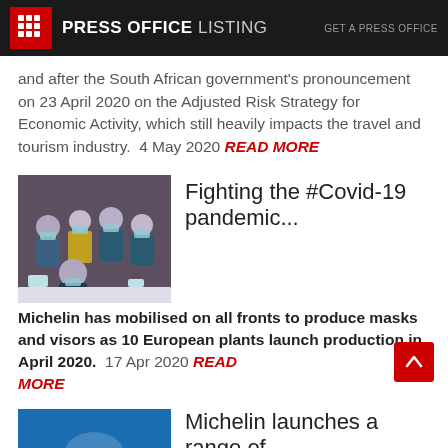PRESS OFFICE LISTING | GET A PRESS OFFICE
and after the South African government's pronouncement on 23 April 2020 on the Adjusted Risk Strategy for Economic Activity, which still heavily impacts the travel and tourism industry.  4 May 2020 READ MORE
Fighting the #Covid-19 pandemic...
Michelin has mobilised on all fronts to produce masks and visors as 10 European plants launch production in April 2020.  17 Apr 2020 READ MORE
[Figure (photo): Group of workers wearing face masks holding items, likely in a factory or warehouse setting]
Michelin launches a range of